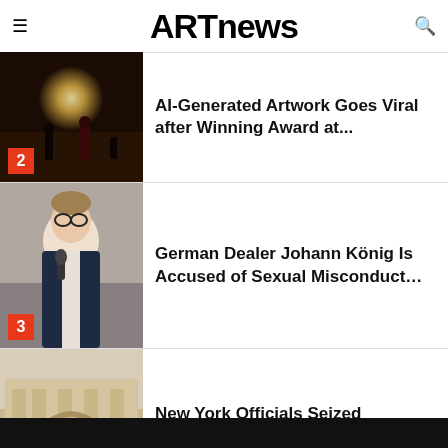ARTnews
[Figure (photo): AI-generated artwork showing figures in a moonlit scene, numbered 2]
AI-Generated Artwork Goes Viral after Winning Award at...
[Figure (photo): Man with glasses speaking into a microphone, numbered 3]
German Dealer Johann König Is Accused of Sexual Misconduct…
[Figure (photo): Metropolitan Museum of Art facade with columns, numbered 4]
New York Officials Seized Antiquities Worth $11 M. from the…